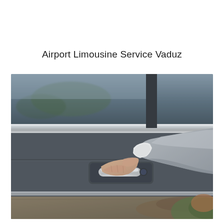Airport Limousine Service Vaduz
[Figure (photo): A chauffeur in a grey suit and white dress shirt opens the door handle of a dark luxury sedan. The chrome door handle is visible with a hand gripping it. The car's window reflects trees and a cloudy sky in the background.]